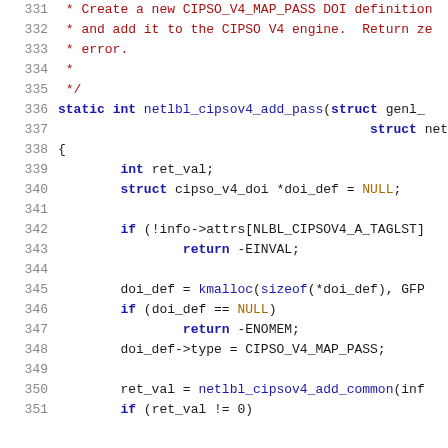Source code listing, lines 331-351, C language kernel code for netlbl_cipsov4_add_pass function